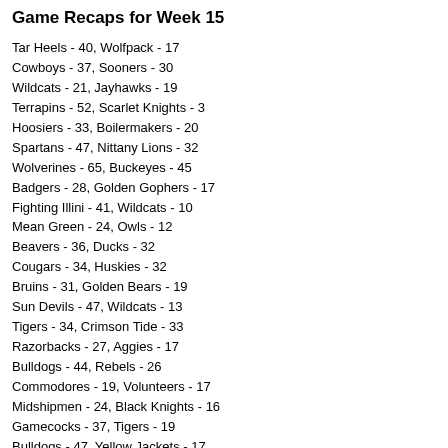Game Recaps for Week 15
Tar Heels - 40, Wolfpack - 17
Cowboys - 37, Sooners - 30
Wildcats - 21, Jayhawks - 19
Terrapins - 52, Scarlet Knights - 3
Hoosiers - 33, Boilermakers - 20
Spartans - 47, Nittany Lions - 32
Wolverines - 65, Buckeyes - 45
Badgers - 28, Golden Gophers - 17
Fighting Illini - 41, Wildcats - 10
Mean Green - 24, Owls - 12
Beavers - 36, Ducks - 32
Cougars - 34, Huskies - 32
Bruins - 31, Golden Bears - 19
Sun Devils - 47, Wildcats - 13
Tigers - 34, Crimson Tide - 33
Razorbacks - 27, Aggies - 17
Bulldogs - 44, Rebels - 26
Commodores - 19, Volunteers - 17
Midshipmen - 24, Black Knights - 16
Gamecocks - 37, Tigers - 19
Bulldogs - 47, Yellow Jackets - 17
Seminoles - 31, Gators - 17
Dukes - 20, Falcons - 19
Golden Flashes - 37, Cyclones - 3
Week 15: LB Douglas Broadnax (AZST) has suffered a major injury!
[Figure (logo): Arizona State Sun Devils trident logo in gold and dark gold]
The Arizona State Sun Devils' LB Douglas Broadnax has suffered a